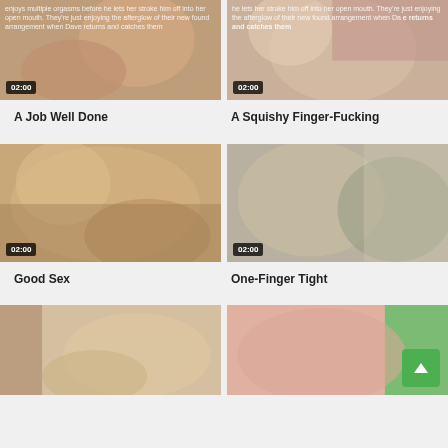[Figure (photo): Partial thumbnail top-left with duration badge 02:00 and overlaid text about 'enjoys multiple orgasms before he lets her stroke him off into her open mouth']
[Figure (photo): Partial thumbnail top-right with duration badge 02:00 and overlaid text about 'enjoying the afterglow of their new found arrangement when Dave returns and catches them']
A Job Well Done
A Squishy Finger-Fucking
[Figure (photo): Video thumbnail showing couple, duration badge 02:00]
[Figure (photo): Video thumbnail showing couple, duration badge 02:00]
Good Sex
One-Finger Tight
[Figure (photo): Partial bottom-left video thumbnail]
[Figure (photo): Partial bottom-right video thumbnail]